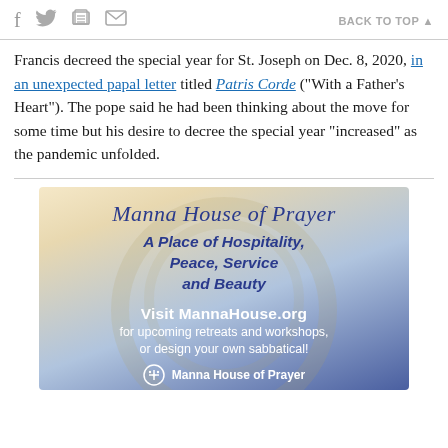f  [twitter]  [print]  [email]    BACK TO TOP ▲
Francis decreed the special year for St. Joseph on Dec. 8, 2020, in an unexpected papal letter titled Patris Corde ("With a Father's Heart"). The pope said he had been thinking about the move for some time but his desire to decree the special year "increased" as the pandemic unfolded.
[Figure (illustration): Advertisement for Manna House of Prayer showing script title 'Manna House of Prayer', subtitle 'A Place of Hospitality, Peace, Service and Beauty', URL 'Visit MannaHouse.org for upcoming retreats and workshops, or design your own sabbatical!', and footer 'Manna House of Prayer' with an icon.]